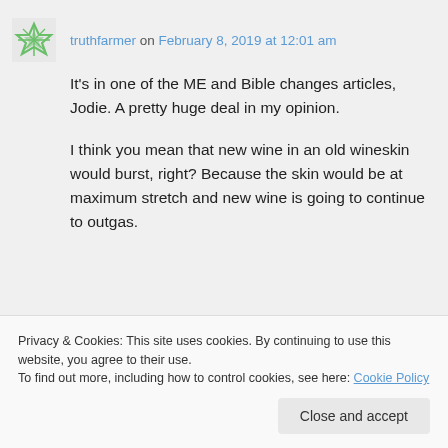truthfarmer on February 8, 2019 at 12:01 am
It's in one of the ME and Bible changes articles, Jodie. A pretty huge deal in my opinion.
I think you mean that new wine in an old wineskin would burst, right? Because the skin would be at maximum stretch and new wine is going to continue to outgas.
Privacy & Cookies: This site uses cookies. By continuing to use this website, you agree to their use.
To find out more, including how to control cookies, see here: Cookie Policy